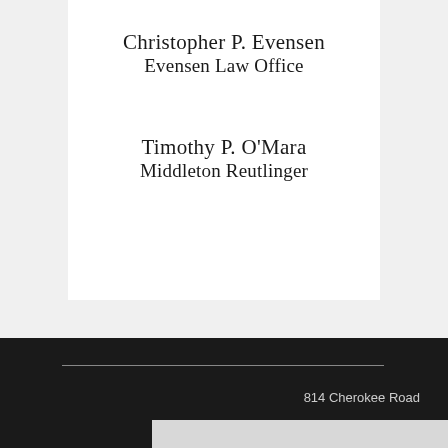Christopher P. Evensen
Evensen Law Office
Timothy P. O'Mara
Middleton Reutlinger
814 Cherokee Road